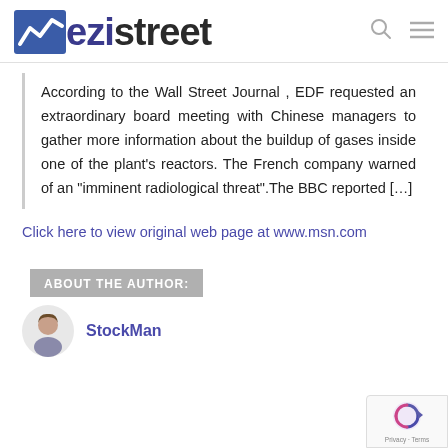ezistreet
According to the Wall Street Journal , EDF requested an extraordinary board meeting with Chinese managers to gather more information about the buildup of gases inside one of the plant’s reactors. The French company warned of an “imminent radiological threat”.The BBC reported […]
Click here to view original web page at www.msn.com
ABOUT THE AUTHOR:
StockMan